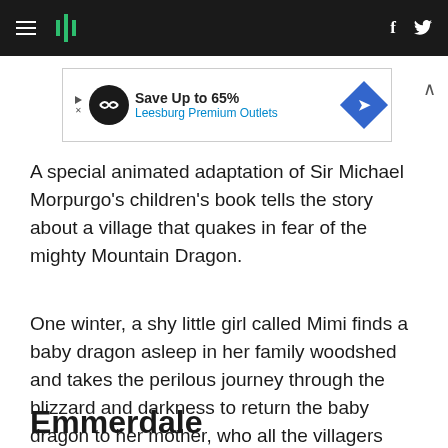HuffPost navigation bar with hamburger menu, logo, facebook and twitter icons
[Figure (other): Advertisement banner: Save Up to 65% Leesburg Premium Outlets]
A special animated adaptation of Sir Michael Morpurgo's children's book tells the story about a village that quakes in fear of the mighty Mountain Dragon.
One winter, a shy little girl called Mimi finds a baby dragon asleep in her family woodshed and takes the perilous journey through the blizzard and darkness to return the baby dragon to her mother, who all the villagers fear.
Emmerdale